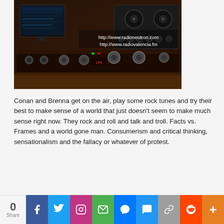[Figure (photo): A dimly lit radio studio with mixing boards, DJ equipment, computer monitors showing waveforms, and glowing LED lights. Text overlay reads: http://www.radioneutron.com and http://www.radiovalencia.fm]
Conan and Brenna get on the air, play some rock tunes and try their best to make sense of a world that just doesn't seem to make much sense right now. They rock and roll and talk and troll. Facts vs. Frames and a world gone man. Consumerism and critical thinking, sensationalism and the fallacy or whatever of protest.
8:00am Demon Stuck In Your Eye by Le
0 Share | Facebook | Twitter | Instagram | Email | Messenger | SMS | Copy Link | Reddit | More